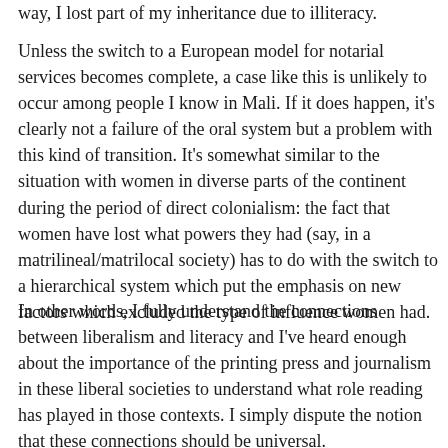way, I lost part of my inheritance due to illiteracy.
Unless the switch to a European model for notarial services becomes complete, a case like this is unlikely to occur among people I know in Mali. If it does happen, it’s clearly not a failure of the oral system but a problem with this kind of transition. It’s somewhat similar to the situation with women in diverse parts of the continent during the period of direct colonialism: the fact that women have lost what powers they had (say, in a matrilineal/matrilocal society) has to do with the switch to a hierarchical system which put the emphasis on new factors which excluded the type of influence women had.
In other words, I fully understand the connections between liberalism and literacy and I’ve heard enough about the importance of the printing press and journalism in these liberal societies to understand what role reading has played in those contexts. I simply dispute the notion that these connections should be universal.